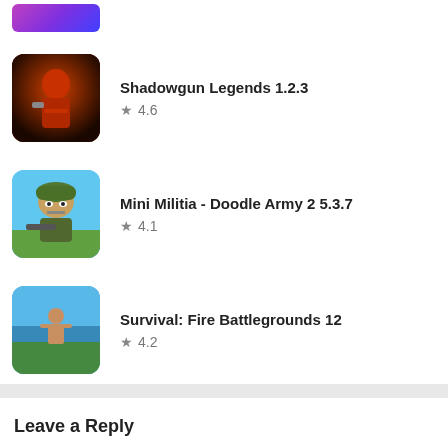[Figure (screenshot): Partial app thumbnail at top (cropped)]
Shadowgun Legends 1.2.3 — Rating: 4.6
Mini Militia - Doodle Army 2 5.3.7 — Rating: 4.1
Survival: Fire Battlegrounds 12 — Rating: 4.2
Leave a Reply
Your email address will not be published. Required fields are marked *